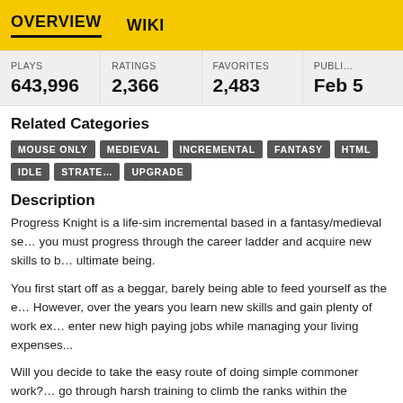OVERVIEW   WIKI
| PLAYS | RATINGS | FAVORITES | PUBLI… |
| --- | --- | --- | --- |
| 643,996 | 2,366 | 2,483 | Feb 5 |
Related Categories
MOUSE ONLY
MEDIEVAL
INCREMENTAL
FANTASY
HTML
IDLE
STRATE…
UPGRADE
Description
Progress Knight is a life-sim incremental based in a fantasy/medieval se… you must progress through the career ladder and acquire new skills to b… ultimate being.
You first start off as a beggar, barely being able to feed yourself as the e… However, over the years you learn new skills and gain plenty of work ex… enter new high paying jobs while managing your living expenses...
Will you decide to take the easy route of doing simple commoner work?… go through harsh training to climb the ranks within the military? Or may… decide to study hard and enrol in a magic academy, learning life-impact… Your career path is open-ended, the decision is up to you.